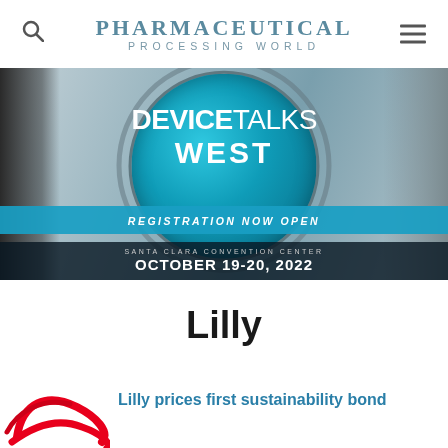Pharmaceutical Processing World
[Figure (photo): DeviceTalks West event advertisement banner showing group of professionals in conversation overlaid with a teal globe graphic. Text reads: DEVICETALKS WEST, REGISTRATION NOW OPEN, SANTA CLARA CONVENTION CENTER, OCTOBER 19-20, 2022]
Lilly
Lilly prices first sustainability bond